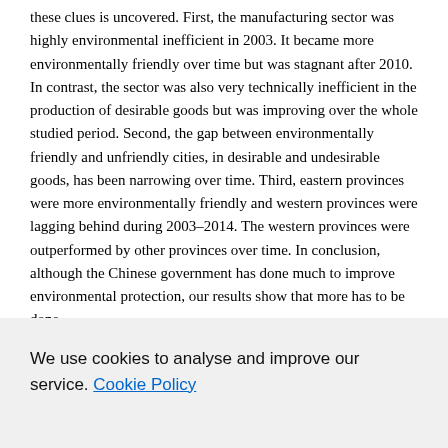these clues is uncovered. First, the manufacturing sector was highly environmental inefficient in 2003. It became more environmentally friendly over time but was stagnant after 2010. In contrast, the sector was also very technically inefficient in the production of desirable goods but was improving over the whole studied period. Second, the gap between environmentally friendly and unfriendly cities, in desirable and undesirable goods, has been narrowing over time. Third, eastern provinces were more environmentally friendly and western provinces were lagging behind during 2003–2014. The western provinces were outperformed by other provinces over time. In conclusion, although the Chinese government has done much to improve environmental protection, our results show that more has to be done.
Original language
English
We use cookies to analyse and improve our service. Cookie Policy